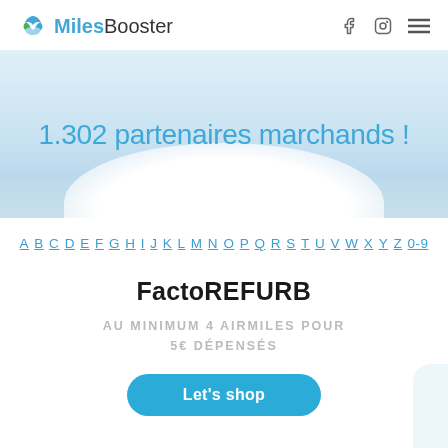MilesBooster
1.302 partenaires marchands !
A B C D E F G H I J K L M N O P Q R S T U V W X Y Z 0-9
FactoREFURB
AU MINIMUM 4 AIRMILES POUR 5€ DÉPENSÉS
Let's shop